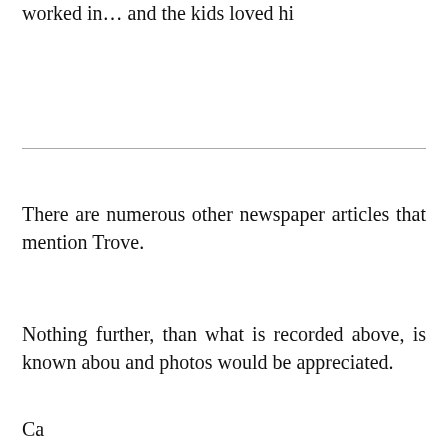worked in… and the kids loved hi
There are numerous other newspaper articles that mention Trove.
Nothing further, than what is recorded above, is known abou and photos would be appreciated.
Ca